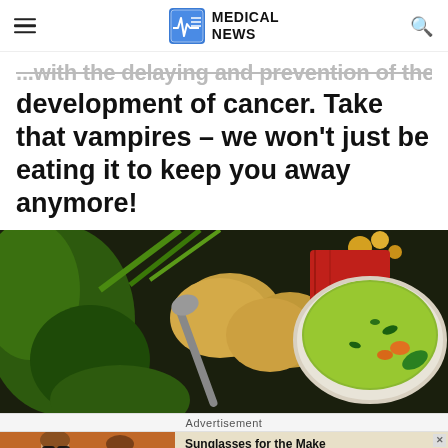MEDICAL NEWS
...with the delaying and prevention of the development of cancer. Take that vampires – we won't just be eating it to keep you away anymore!
[Figure (photo): A bowl of green vegetable soup garnished with herbs and vegetables, surrounded by potatoes, green beans, and leafy greens on a dark background with a red cloth.]
Advertisement
[Figure (photo): Advertisement banner: Sunglasses for the Make — TIMELESS STYLES, UNMATCHED QUALITY — SHOP NOW button, featuring two women wearing sunglasses.]